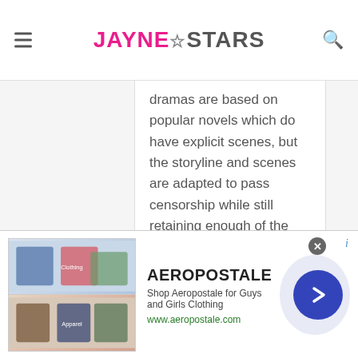JAYNESTARS
dramas are based on popular novels which do have explicit scenes, but the storyline and scenes are adapted to pass censorship while still retaining enough of the original novel’s content to appease fans.
Haven’t watched Thai BL dramas to comment, though they seem quite popular.
[Figure (screenshot): Aeropostale advertisement banner with clothing images, brand name, tagline 'Shop Aeropostale for Guys and Girls Clothing', URL www.aeropostale.com, and a blue circular arrow button]